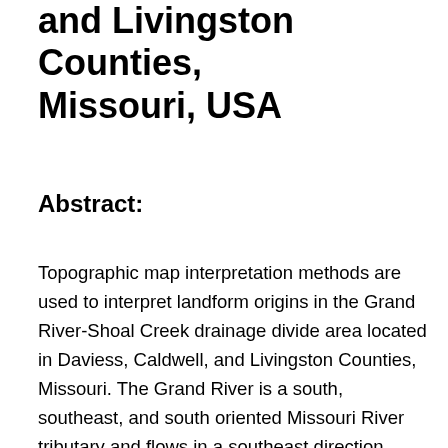and Livingston Counties, Missouri, USA
Abstract:
Topographic map interpretation methods are used to interpret landform origins in the Grand River-Shoal Creek drainage divide area located in Daviess, Caldwell, and Livingston Counties, Missouri. The Grand River is a south, southeast, and south oriented Missouri River tributary and flows in a southeast direction across Daviess and Livingston Counties before turning to flow in a south direction to join the Missouri River. Shoal Creek flows in a generally east direction across Caldwell County (located south of Daviess County) before flowing in a northeast direction to join the north oriented Grand River in